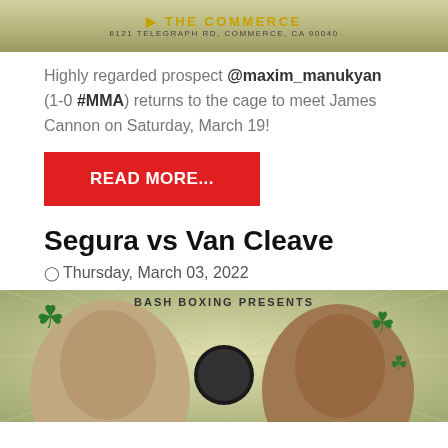[Figure (illustration): Top banner showing 'THE COMMERCE' venue header with address 6121 Telegraph Rd, Commerce, CA 90040]
Highly regarded prospect @maxim_manukyan (1-0 #MMA) returns to the cage to meet James Cannon on Saturday, March 19!
READ MORE...
Segura vs Van Cleave
Thursday, March 03, 2022
[Figure (illustration): Bash Boxing Presents event poster showing two fighters facing each other with shamrock decorations and a boxing logo in the center]